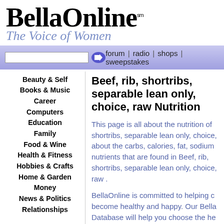BellaOnline℠ The Voice of Women
forum | radio | shops | sweepstakes
Beef, rib, shortribs, separable lean only, choice, raw Nutrition
This page is all about the nutrition of shortribs, separable lean only, choice, about the carbs, calories, fat, sodium nutrients that are found in Beef, rib, shortribs, separable lean only, choice, raw .
BellaOnline is committed to helping customers become healthy and happy. Our BellaOnline Database will help you choose the healthiest for your chosen lifestyle. Please let us know any suggestions!
Beauty & Self
Books & Music
Career
Computers
Education
Family
Food & Wine
Health & Fitness
Hobbies & Crafts
Home & Garden
Money
News & Politics
Relationships